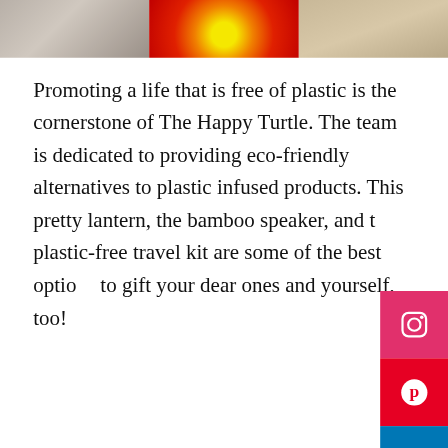[Figure (photo): Three photos in a horizontal strip at the top: grey textured surface, red flower close-up with yellow center, and tan/beige fabric or material]
Promoting a life that is free of plastic is the cornerstone of The Happy Turtle. The team is dedicated to providing eco-friendly alternatives to plastic infused products. This pretty lantern, the bamboo speaker, and the plastic-free travel kit are some of the best options to gift your dear ones and yourself, too!
[Figure (other): Social media sidebar buttons: Instagram (red/pink), Pinterest (red), LinkedIn (blue) icons on the right edge]
Click here to shop
4. Zerowasteshop India
[Figure (photo): Three product photos: pink background with metallic/wooden items and bowl, dark purple background with candle and decorative item, cork clock on light geometric background]